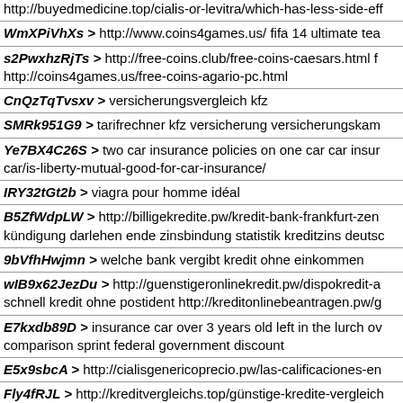http://buyedmedicine.top/cialis-or-levitra/which-has-less-side-eff...
WmXPiVhXs > http://www.coins4games.us/ fifa 14 ultimate tea...
s2PwxhzRjTs > http://free-coins.club/free-coins-caesars.html f... http://coins4games.us/free-coins-agario-pc.html
CnQzTqTvsxv > versicherungsvergleich kfz
SMRk951G9 > tarifrechner kfz versicherung versicherungskam...
Ye7BX4C26S > two car insurance policies on one car car insur... car/is-liberty-mutual-good-for-car-insurance/
IRY32tGt2b > viagra pour homme idéal
B5ZfWdpLW > http://billigekredite.pw/kredit-bank-frankfurt-zen... kündigung darlehen ende zinsbindung statistik kreditzins deutsc...
9bVfhHwjmn > welche bank vergibt kredit ohne einkommen
wIB9x62JezDu > http://guenstigeronlinekredit.pw/dispokredit-a... schnell kredit ohne postident http://kreditonlinebeantragen.pw/g...
E7kxdb89D > insurance car over 3 years old left in the lurch ov... comparison sprint federal government discount
E5x9sbcA > http://cialisgenericoprecio.pw/las-calificaciones-en...
Fly4fRJL > http://kreditvergleichs.top/günstige-kredite-vergleich... http://kreditrechnerco.info/finanzierungsrechner-immobilien.html
lDPIKYaqP7F > cheap car insurance quotes discount car insur... http://cheapautoinsurancevp.us/ cheap car insurance in nj
UFAjRmqjh6Ut > http://besteonlinekredit.top/sparkasse-kredit-...
iWR... > ...